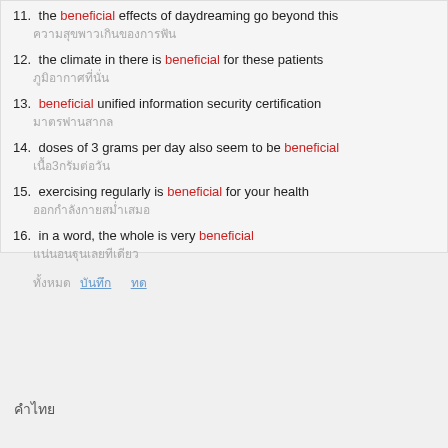11. the beneficial effects of daydreaming go beyond this / [Thai translation]
12. the climate in there is beneficial for these patients / [Thai translation]
13. beneficial unified information security certification / [Thai translation]
14. doses of 3 grams per day also seem to be beneficial / [Thai translation]
15. exercising regularly is beneficial for your health / [Thai translation]
16. in a word, the whole is very beneficial / [Thai translation]
[footer with Thai links]
[Thai section title]